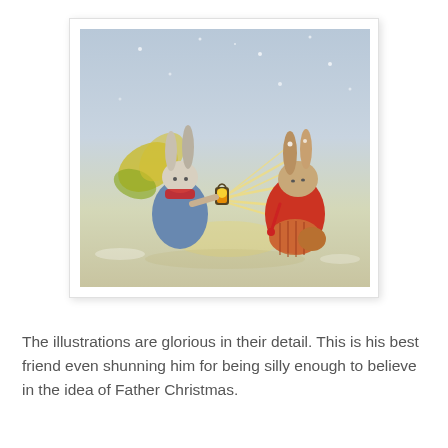[Figure (illustration): Watercolor illustration of two anthropomorphic rabbits in a winter snow scene. On the left, a rabbit with large butterfly/fairy wings and a red scarf holds a glowing lantern. On the right, another rabbit in a red coat and striped skirt stands facing the lantern light. Yellow rays of light emanate from the lantern between them.]
The illustrations are glorious in their detail. This is his best friend even shunning him for being silly enough to believe in the idea of Father Christmas.